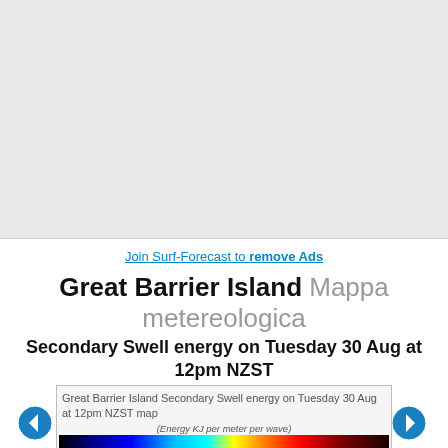Join Surf-Forecast to remove Ads
Great Barrier Island Mappa metereologica
Secondary Swell energy on Tuesday 30 Aug at 12pm NZST
[Figure (map): Color scale bar showing Energy KJ per meter per wave, ranging from 50 to 30000, with navigation arrows on each side. Alt text: Great Barrier Island Secondary Swell energy on Tuesday 30 Aug at 12pm NZST map]
Altri tipi di mappe statiche | Mappa animata
Altri periodi di questa Forza Swell 2 mappa